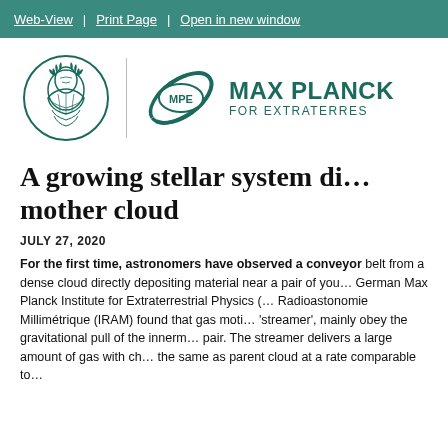Web-View | Print Page | Open in new window
[Figure (logo): Max Planck Institute for Extraterrestrial Physics (MPE) logo with MPG coin emblem and MPE orbital logo]
A growing stellar system directly from its mother cloud
JULY 27, 2020
For the first time, astronomers have observed a conveyor belt from a dense cloud directly depositing material near a pair of young stars. German Max Planck Institute for Extraterrestrial Physics (MPE) and Radioastonomie Millimétrique (IRAM) found that gas motions in this 'streamer', mainly obey the gravitational pull of the innermost stellar pair. The streamer delivers a large amount of gas with chemical composition the same as parent cloud at a rate comparable to